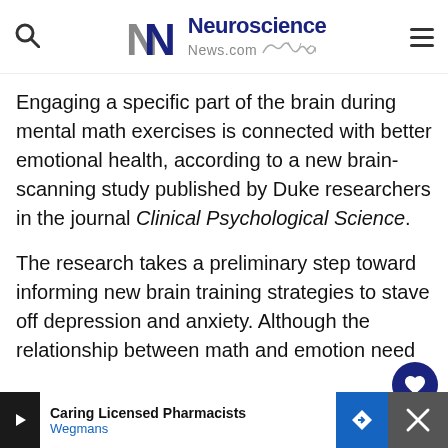Neuroscience News.com
Engaging a specific part of the brain during mental math exercises is connected with better emotional health, according to a new brain-scanning study published by Duke researchers in the journal Clinical Psychological Science.
The research takes a preliminary step toward informing new brain training strategies to stave off depression and anxiety. Although the relationship between math and emotion need fu... lead to...
Caring Licensed Pharmacists Wegmans